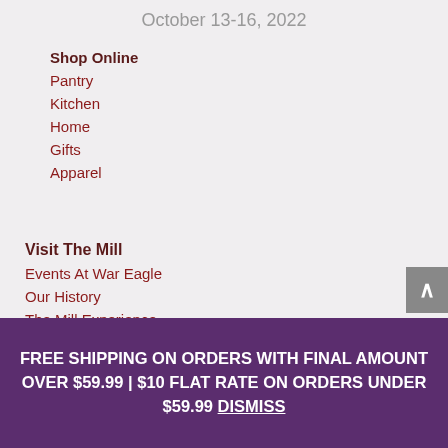October 13-16, 2022
Shop Online
Pantry
Kitchen
Home
Gifts
Apparel
Visit The Mill
Events At War Eagle
Our History
The Mill Experience
General Store
FREE SHIPPING ON ORDERS WITH FINAL AMOUNT OVER $59.99 | $10 FLAT RATE ON ORDERS UNDER $59.99 Dismiss